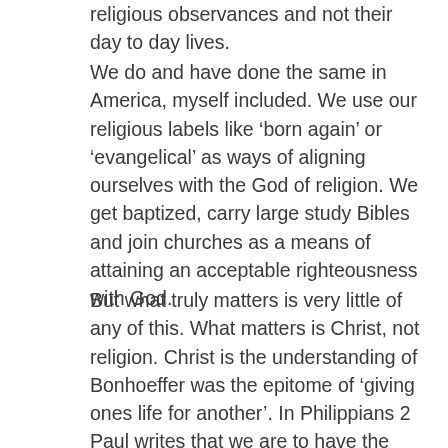religious observances and not their day to day lives.
We do and have done the same in America, myself included. We use our religious labels like ‘born again’ or ‘evangelical’ as ways of aligning ourselves with the God of religion. We get baptized, carry large study Bibles and join churches as a means of attaining an acceptable righteousness with God.
But what truly matters is very little of any of this. What matters is Christ, not religion. Christ is the understanding of Bonhoeffer was the epitome of ‘giving ones life for another’. In Philippians 2 Paul writes that we are to have the attitude, the mindset, the character of Jesus who ‘gave up power’ and his equality with God to become a servant to humanity even to the point of dying on the cross. That’s the center where Jesus lives and to where he calls us. In